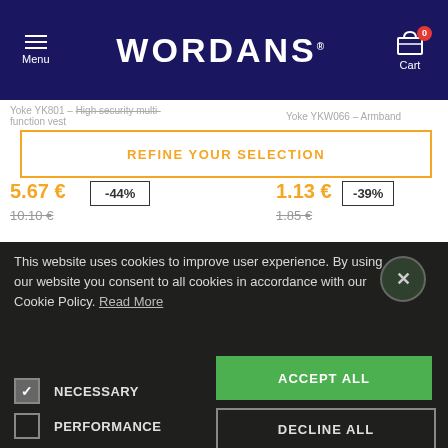Menu | WORDANS | Cart (0)
Yoke YK801 – High security multi-function vest   Yoke YKW066 – Armband
REFINE YOUR SELECTION
5.67 €   -44%   1.13 €   -39%
10.10 €   1.85 €
This website uses cookies to improve user experience. By using our website you consent to all cookies in accordance with our Cookie Policy. Read More
NECESSARY
PERFORMANCE
ADVERTISING
FUNCTIONALITY
ACCEPT ALL
DECLINE ALL